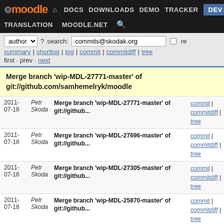Moodle navigation: DOCS | DOWNLOADS | DEMO | TRACKER | DEV | TRANSLATION | MOODLE.NET
author ▼  ? search: commits@skodak.org  □ re
summary | shortlog | log | commit | commitdiff | tree
first · prev · next
Merge branch 'wip-MDL-27771-master' of git://github.com/samhemelryk/moodle
| Date | Author | Message | Links |
| --- | --- | --- | --- |
| 2011-07-18 | Petr Skoda | Merge branch 'wip-MDL-27771-master' of git://github... | commit | commitdiff | tree |
| 2011-07-18 | Petr Skoda | Merge branch 'wip-MDL-27696-master' of git://github... | commit | commitdiff | tree |
| 2011-07-18 | Petr Skoda | Merge branch 'wip-MDL-27305-master' of git://github... | commit | commitdiff | tree |
| 2011-07-18 | Petr Skoda | Merge branch 'wip-MDL-25870-master' of git://github... | commit | commitdiff | tree |
| 2011-07-18 | Petr Skoda | Merge branch 'wip-MDL-25125-master' of github.com:marinaglan... | commit | commitdiff | tree |
| 2011-07-17 | Petr Skoda | MDL-28348 fix spelling and some whitespace issues | commit | commitdiff | tree |
| 2011-07-17 | Petr Skoda | MDL-28348 fix fatal error caused by unenrolling of... | commit | commitdiff | tree |